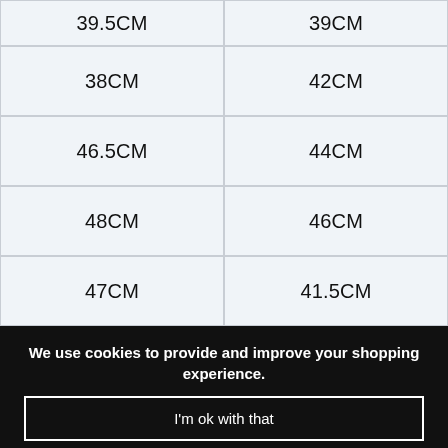| 39.5CM | 39CM |
| 38CM | 42CM |
| 46.5CM | 44CM |
| 48CM | 46CM |
| 47CM | 41.5CM |
We use cookies to provide and improve your shopping experience.
I'm ok with that